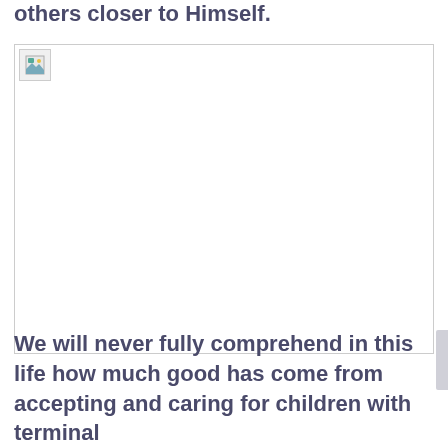others closer to Himself.
[Figure (photo): A broken/unloaded image placeholder occupying most of the middle section of the page.]
We will never fully comprehend in this life how much good has come from accepting and caring for children with terminal